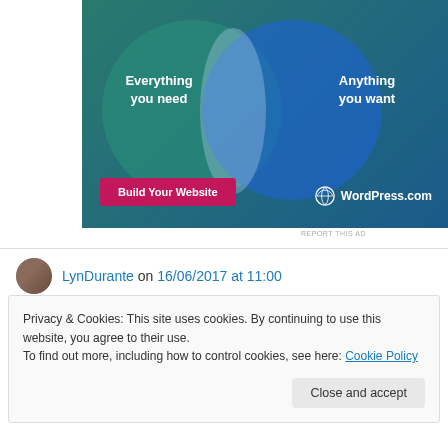[Figure (illustration): WordPress.com advertisement showing a Venn diagram with two overlapping circles. Left circle says 'Everything you need', right circle says 'Anything you want'. Bottom left has a pink 'Build Your Website' button, bottom right shows the WordPress.com logo.]
REPORT THIS AD
LynDurante on 16/06/2017 at 11:00
Privacy & Cookies: This site uses cookies. By continuing to use this website, you agree to their use.
To find out more, including how to control cookies, see here: Cookie Policy
Close and accept